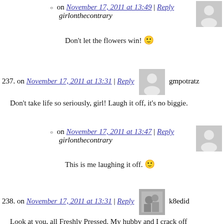on November 17, 2011 at 13:49 | Reply
girlonthecontrary
Don't let the flowers win! 🙂
237. on November 17, 2011 at 13:31 | Reply  gmpotratz
Don't take life so seriously, girl! Laugh it off, it's no biggie.
on November 17, 2011 at 13:47 | Reply
girlonthecontrary
This is me laughing it off. 🙂
238. on November 17, 2011 at 13:31 | Reply  k8edid
Look at you, all Freshly Pressed. My hubby and I crack off